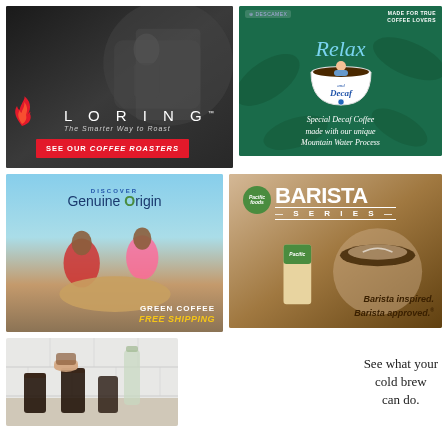[Figure (illustration): Loring advertisement: dark background showing coffee roasting machinery with a barista, featuring Loring logo with flame graphic, tagline 'The Smarter Way to Roast', and red CTA button 'SEE OUR COFFEE ROASTERS']
[Figure (illustration): Decaf coffee advertisement on dark green background with illustrated woman relaxing in large coffee cup, text 'Relax and Decaf', 'Special Decaf Coffee made with our unique Mountain Water Process', 'MADE FOR TRUE COFFEE LOVERS']
[Figure (illustration): Genuine Origin advertisement: 'DISCOVER Genuine Origin' with green leaf in logo, outdoor photo of two African women sorting green coffee beans, text 'GREEN COFFEE FREE SHIPPING']
[Figure (illustration): Pacific Foods Barista Series advertisement: green Pacific Foods badge logo, large 'BARISTA SERIES' text, product carton image, coffee latte cup, text 'Barista inspired. Barista approved.']
[Figure (photo): Cold brew coffee advertisement: barista's hands pouring cold brew into glasses on white tile background]
See what your cold brew can do.